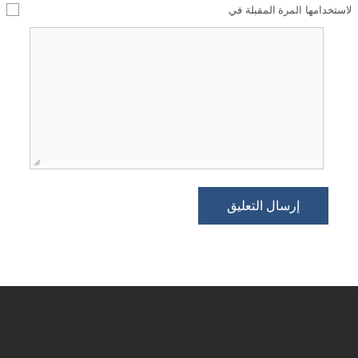لاستخدامها المرة المقبلة في
[Figure (screenshot): A large empty textarea input box with a resize handle at the bottom left corner]
[Figure (screenshot): A blue submit button labeled إرسال التعليق]